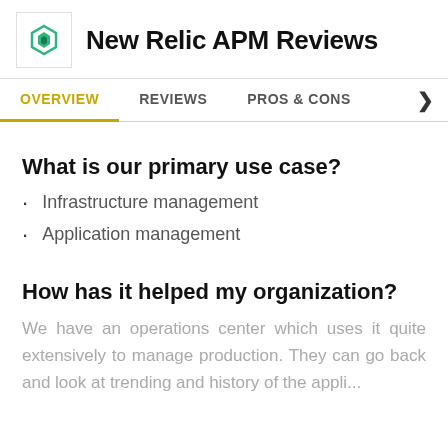New Relic APM Reviews
OVERVIEW | REVIEWS | PROS & CONS
What is our primary use case?
Infrastructure management
Application management
How has it helped my organization?
We have an operations center which uses it quite extensively to manage production. They can go back and look at trending and history of the appli...